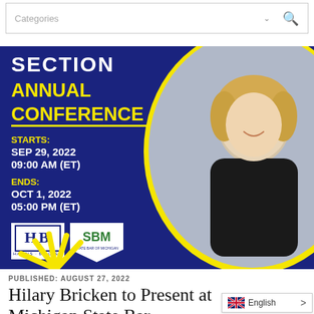Categories
[Figure (infographic): Conference promotional banner showing 'SECTION ANNUAL CONFERENCE' text on dark navy background with event dates (STARTS: SEP 29, 2022 09:00 AM ET, ENDS: OCT 1, 2022 05:00 PM ET), Harris Bricken and State Bar of Michigan logos, yellow circle with photo of blonde woman in black blazer with arms crossed, and sunburst graphic.]
PUBLISHED: AUGUST 27, 2022
Hilary Bricken to Present at Michigan State Bar Law Section Conference